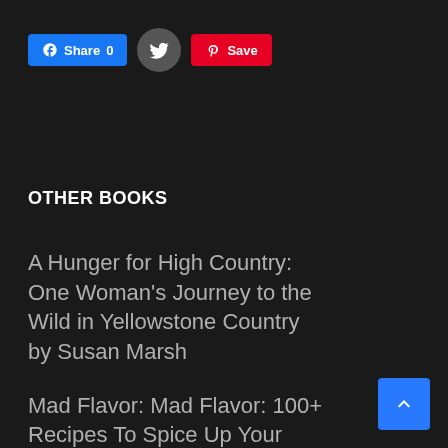[Figure (screenshot): Social share buttons: Facebook Share 0, Twitter, Pinterest Save]
OTHER BOOKS
A Hunger for High Country: One Woman's Journey to the Wild in Yellowstone Country by Susan Marsh
Mad Flavor: Mad Flavor: 100+ Recipes To Spice Up Your Everyday